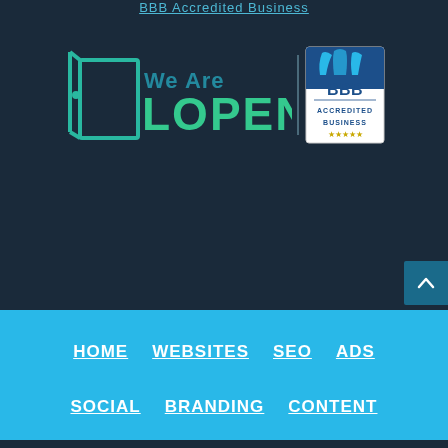BBB Accredited Business
[Figure (logo): We Are LOPEN logo combined with BBB Accredited Business seal]
[Figure (other): Scroll to top button with upward chevron arrow]
HOME  WEBSITES  SEO  ADS  SOCIAL  BRANDING  CONTENT